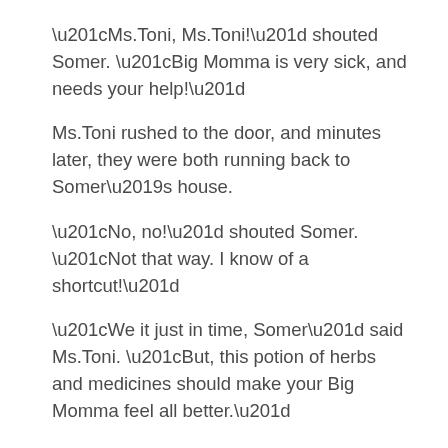“Ms.Toni, Ms.Toni!” shouted Somer. “Big Momma is very sick, and needs your help!”
Ms.Toni rushed to the door, and minutes later, they were both running back to Somer’s house.
“No, no!” shouted Somer. “Not that way. I know of a shortcut!”
“We it just in time, Somer” said Ms.Toni. “But, this potion of herbs and medicines should make your Big Momma feel all better.”
For the next several weeks, Somer was in charge of the house as Big Momma was getting better. She cooked the meals, chop the wood, and tended to the livestock.
One morning while feeding the chickens, Somer